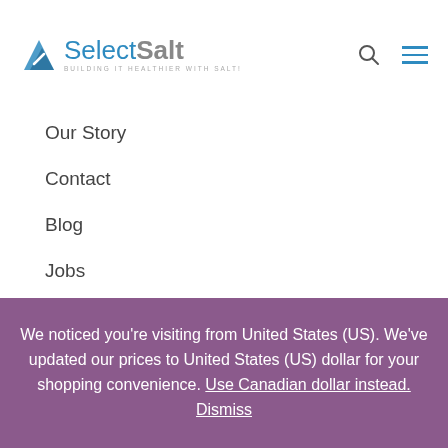SelectSalt — BUILDING IT HEALTHIER WITH SALT!
Our Story
Contact
Blog
Jobs
Why Build With Us?
Subscribe to Newsletter
Privacy Policy
Disclaimer
Sitemap
We noticed you're visiting from United States (US). We've updated our prices to United States (US) dollar for your shopping convenience. Use Canadian dollar instead. Dismiss